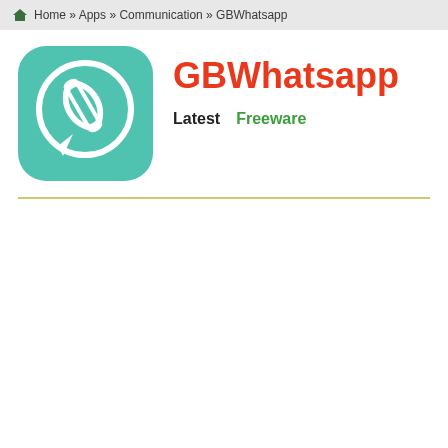Home » Apps » Communication » GBWhatsapp
[Figure (logo): GBWhatsapp app icon — teal/green rounded square with white WhatsApp telephone handset in speech bubble logo]
GBWhatsapp
Latest   Freeware